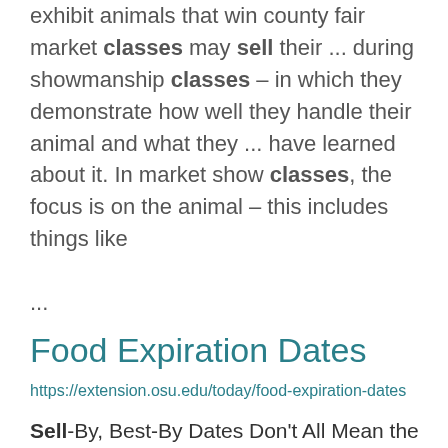exhibit animals that win county fair market classes may sell their ... during showmanship classes – in which they demonstrate how well they handle their animal and what they ... have learned about it. In market show classes, the focus is on the animal – this includes things like ...
Food Expiration Dates
https://extension.osu.edu/today/food-expiration-dates
Sell-By, Best-By Dates Don't All Mean the Same Thing, as this Chow Line article clarifies. It's safety